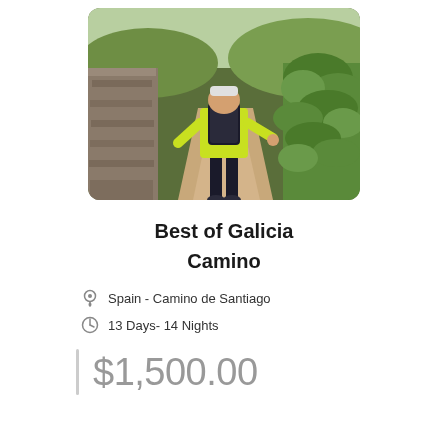[Figure (photo): Hiker wearing a yellow-green jacket with a black backpack walking along a stone-walled trail with green vegetation on both sides, viewed from behind.]
Best of Galicia Camino
Spain - Camino de Santiago
13 Days- 14 Nights
$1,500.00